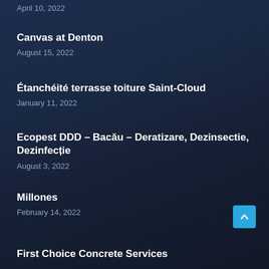April 10, 2022
Canvas at Denton
August 15, 2022
Étanchéité terrasse toiture Saint-Cloud
January 11, 2022
Ecopest DDD – Bacău – Deratizare, Dezinsectie, Dezinfecție
August 3, 2022
Millones
February 14, 2022
First Choice Concrete Services